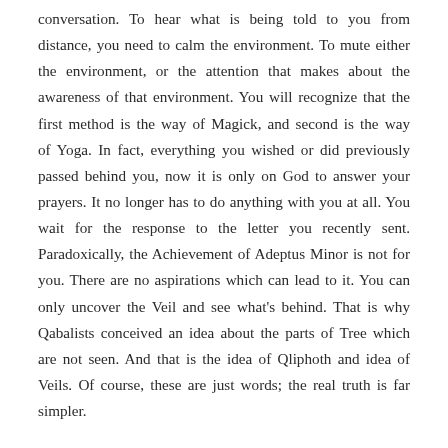conversation. To hear what is being told to you from distance, you need to calm the environment. To mute either the environment, or the attention that makes about the awareness of that environment. You will recognize that the first method is the way of Magick, and second is the way of Yoga. In fact, everything you wished or did previously passed behind you, now it is only on God to answer your prayers. It no longer has to do anything with you at all. You wait for the response to the letter you recently sent. Paradoxically, the Achievement of Adeptus Minor is not for you. There are no aspirations which can lead to it. You can only uncover the Veil and see what's behind. That is why Qabalists conceived an idea about the parts of Tree which are not seen. And that is the idea of Qliphoth and idea of Veils. Of course, these are just words; the real truth is far simpler.